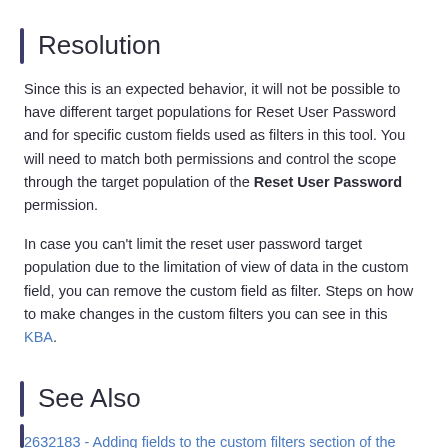Resolution
Since this is an expected behavior, it will not be possible to have different target populations for Reset User Password and for specific custom fields used as filters in this tool. You will need to match both permissions and control the scope through the target population of the Reset User Password permission.
In case you can't limit the reset user password target population due to the limitation of view of data in the custom field, you can remove the custom field as filter. Steps on how to make changes in the custom filters you can see in this KBA.
See Also
2632183 - Adding fields to the custom filters section of the Data Model